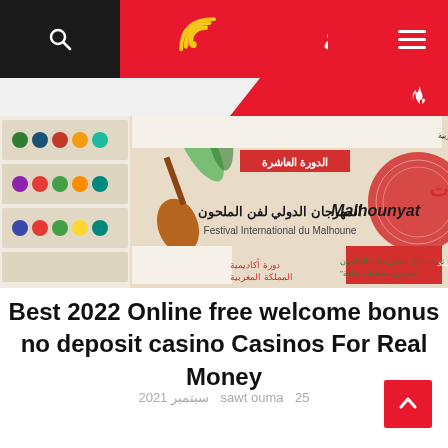صوت الأمة - navigation header with search and menu icons
[Figure (screenshot): Advertisement banner for Festival International du Malhoune / ملحونيات - Malhounyat, الدورة العاشرة, المهرجان الدولي لفن الملحون, from 14 to 16 June 2022 in Azrou, دورة أكاديمية المملكة المغربية]
Best 2022 Online free welcome bonus no deposit casino Casinos For Real Money
25 sawt ouma سبتمبر 2021